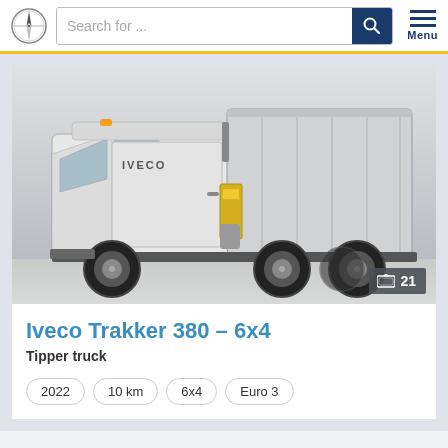Search for ...
[Figure (photo): White Iveco Trakker 380 6x4 tipper truck photographed in a studio/warehouse setting, showing the front-side angle. The truck has a large tipper body on the rear. A badge showing '21' photos is in the bottom-right corner of the image.]
Iveco Trakker 380 – 6x4
Tipper truck
2022
10 km
6x4
Euro 3